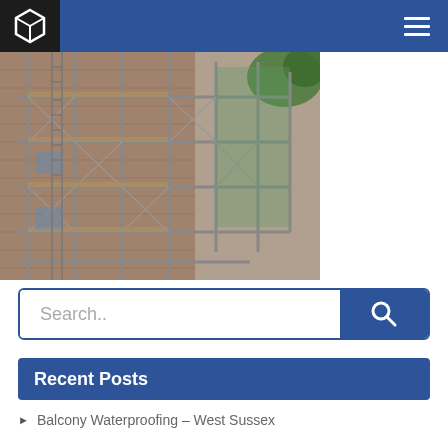Navigation bar with logo and hamburger menu
[Figure (photo): Scaffolding on the exterior of a brick building, multiple levels of metal scaffold frames and green netting visible, trees in background]
Search..
Recent Posts
Balcony Waterproofing – West Sussex
Enquiry From An Impressed Neighbour
Concrete Repair – Whipps Cross Hospital A&E